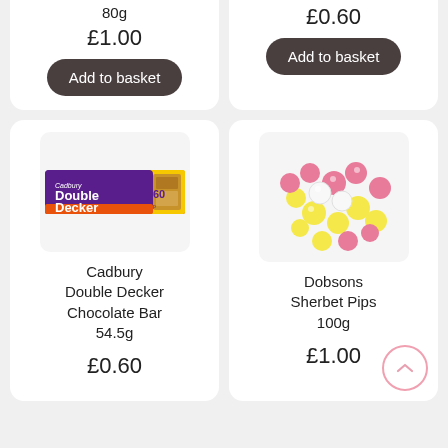80g
£1.00
Add to basket
£0.60
Add to basket
[Figure (photo): Cadbury Double Decker chocolate bar wrapper]
Cadbury Double Decker Chocolate Bar 54.5g
£0.60
[Figure (photo): Dobsons Sherbet Pips sweets — pink, yellow and white round candy balls scattered on white background]
Dobsons Sherbet Pips 100g
£1.00